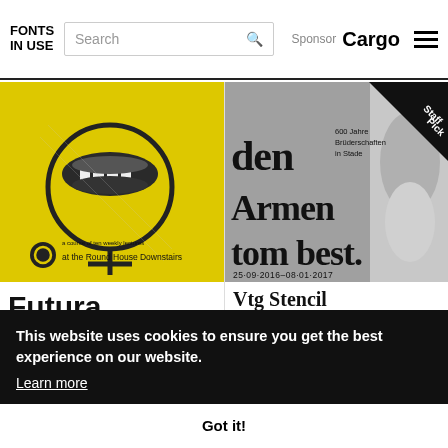FONTS IN USE | Search | Sponsor Cargo
[Figure (illustration): Yellow poster with female symbol and open mouth graphic. Text: 'a course of ten weekly lectures' and 'at the Round House Downstairs']
Futura
[Figure (illustration): German exhibition poster in grey with blackletter typography: 'den Armen tom besten', '600 Jahre Brüderschaften in Stade', '25·09·2016–08·01·2017'. Staff Pick badge in corner.]
Vtg Stencil Germany No101
urat
vers
This website uses cookies to ensure you get the best experience on our website.
Learn more
Got it!